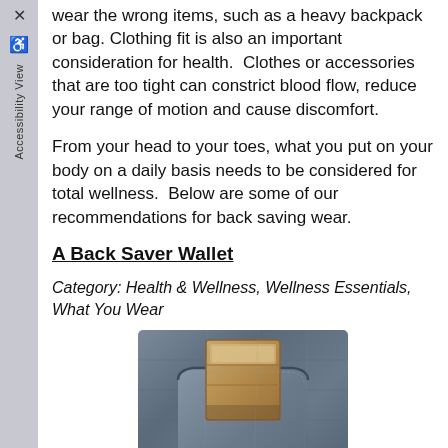wear the wrong items, such as a heavy backpack or bag. Clothing fit is also an important consideration for health. Clothes or accessories that are too tight can constrict blood flow, reduce your range of motion and cause discomfort.
From your head to your toes, what you put on your body on a daily basis needs to be considered for total wellness. Below are some of our recommendations for back saving wear.
A Back Saver Wallet
Category: Health & Wellness, Wellness Essentials, What You Wear
[Figure (photo): A wallet sticking out of the back pocket of a pair of jeans]
Most men carry a wallet in their back pockets and in many cases it can be over a half an inch thick.